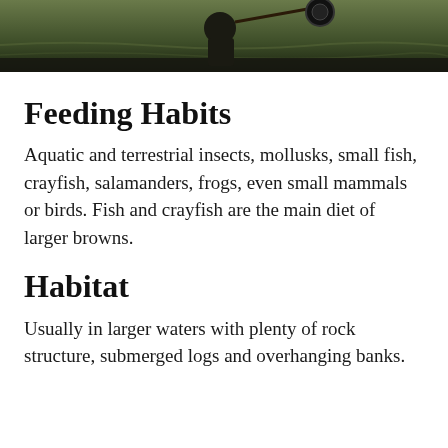[Figure (photo): A person fly fishing in a river, holding a fishing rod with a reel visible, standing in water.]
Feeding Habits
Aquatic and terrestrial insects, mollusks, small fish, crayfish, salamanders, frogs, even small mammals or birds. Fish and crayfish are the main diet of larger browns.
Habitat
Usually in larger waters with plenty of rock structure, submerged logs and overhanging banks.